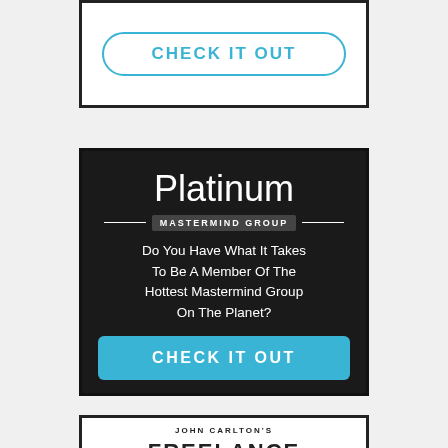[Figure (infographic): Top partial white banner with 'CHECK IT OUT' button in teal outline style]
[Figure (infographic): Platinum Mastermind Group dark banner. Title 'Platinum' in large white serif, subtitle 'MASTERMIND GROUP' in badge. Body text: 'Do You Have What It Takes To Be A Member Of The Hottest Mastermind Group On The Planet?' with teal 'CHECK IT OUT' button.]
[Figure (infographic): Partial bottom white banner with 'JOHN CARLTON'S' in small caps and 'FREELANCE' in large bold with dashes on either side.]